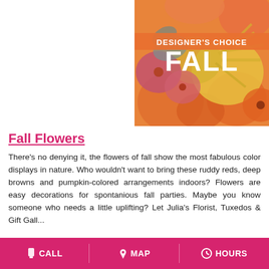[Figure (photo): Close-up photo of autumn fall flower arrangement with orange roses, yellow chrysanthemums, pink gerbera daisies and eucalyptus. Overlaid text banner reads 'DESIGNER'S CHOICE' in orange bar and 'FALL' in large white bold letters.]
Fall Flowers
There's no denying it, the flowers of fall show the most fabulous color displays in nature. Who wouldn't want to bring these ruddy reds, deep browns and pumpkin-colored arrangements indoors? Flowers are easy decorations for spontanious fall parties. Maybe you know someone who needs a little uplifting? Let Julia's Florist, Tuxedos & Gift Gall...
CALL   MAP   HOURS